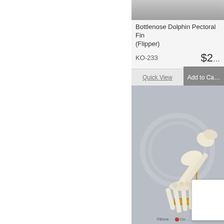[Figure (photo): Partial view of a gray background product image (top of card cropped, likely dolphin flipper specimen)]
Bottlenose Dolphin Pectoral Fin (Flipper)
KO-233    $2...
Quick View    Add to Ca...
[Figure (photo): Mandrill baboon hand skeleton arranged in a crawling pose, mounted on a brass stand, on a gray background with Bone Clones watermark]
Mandrill Baboon Han... Pose on Brass Stand